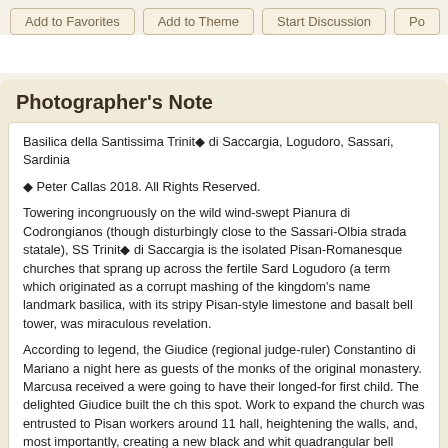Add to Favorites | Add to Theme | Start Discussion | Po...
Photographer's Note
Basilica della Santissima Trinit◆ di Saccargia, Logudoro, Sassari, Sardinia
◆ Peter Callas 2018. All Rights Reserved.
Towering incongruously on the wild wind-swept Pianura di Codrongianos (though disturbingly close to the Sassari-Olbia strada statale), SS Trinit◆ di Saccargia is the isolated Pisan-Romanesque churches that sprang up across the fertile Sardinian Logudoro (a term which originated as a corrupt mashing of the kingdom's name landmark basilica, with its stripy Pisan-style limestone and basalt bell tower, was miraculous revelation.
According to legend, the Giudice (regional judge-ruler) Constantino di Mariano a night here as guests of the monks of the original monastery. Marcusa received a were going to have their longed-for first child. The delighted Giudice built the ch this spot. Work to expand the church was entrusted to Pisan workers around 11 hall, heightening the walls, and, most importantly, creating a new black and whit quadrangular bell tower. Under the arches there are wheels and tipped lozenge to the Pisan classicist style of the early 13th century. The church was abandone restored and reopened in the early 20th century.
At the end of the 12th century the interior of the central apse was frescoed by a Lazio: it is the only example of Romanesque wall painting in Sardinia.